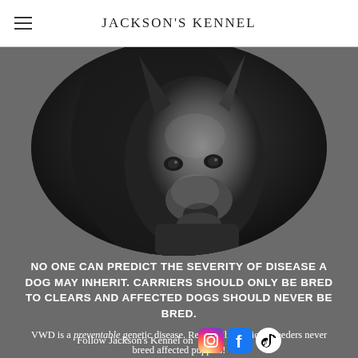JACKSON'S KENNEL
[Figure (photo): Black and white close-up photo of a Doberman dog looking forward, placed inside a large oval/circle shape on a gray background.]
NO ONE CAN PREDICT THE SEVERITY OF DISEASE A DOG MAY INHERIT. CARRIERS SHOULD ONLY BE BRED TO CLEARS AND AFFECTED DOGS SHOULD NEVER BE BRED.
VWD is a preventable genetic disease. Responsible ethical breeders never breed affected puppies!
Follow Jackson's Kennel on [Instagram] [Facebook] [TikTok]